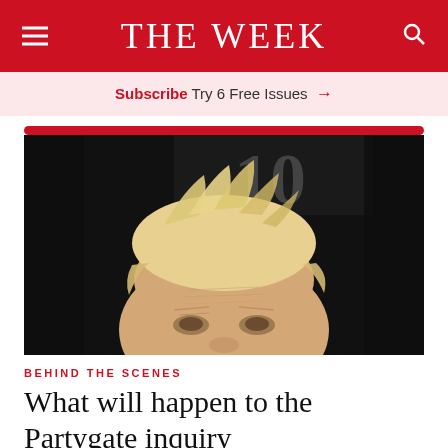THE WEEK
Subscribe Try 6 Free Issues →
[Figure (photo): Close-up photo of Boris Johnson's face and distinctive blond hair outside 10 Downing Street, with the number 10 visible in the dark background]
BEHIND THE SCENES
What will happen to the Partygate inquiry